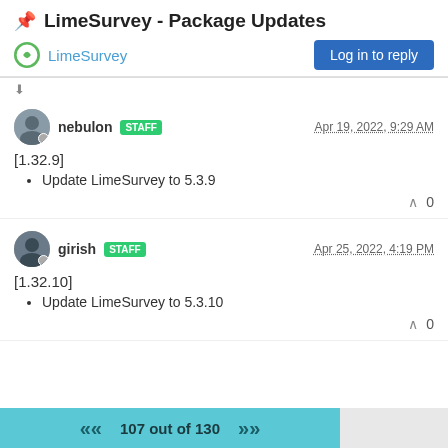📌 LimeSurvey - Package Updates
LimeSurvey   Log in to reply
nebulon STAFF   Apr 19, 2022, 9:29 AM
[1.32.9]
Update LimeSurvey to 5.3.9
^ 0
girish STAFF   Apr 25, 2022, 4:19 PM
[1.32.10]
Update LimeSurvey to 5.3.10
^ 0
107 out of 130